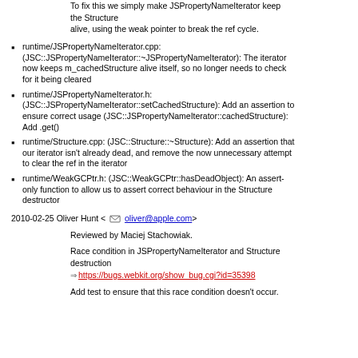To fix this we simply make JSPropertyNameIterator keep the Structure alive, using the weak pointer to break the ref cycle.
runtime/JSPropertyNameIterator.cpp: (JSC::JSPropertyNameIterator::~JSPropertyNameIterator): The iterator now keeps m_cachedStructure alive itself, so no longer needs to check for it being cleared
runtime/JSPropertyNameIterator.h: (JSC::JSPropertyNameIterator::setCachedStructure): Add an assertion to ensure correct usage (JSC::JSPropertyNameIterator::cachedStructure): Add .get()
runtime/Structure.cpp: (JSC::Structure::~Structure): Add an assertion that our iterator isn't already dead, and remove the now unnecessary attempt to clear the ref in the iterator
runtime/WeakGCPtr.h: (JSC::WeakGCPtr::hasDeadObject): An assert-only function to allow us to assert correct behaviour in the Structure destructor
2010-02-25 Oliver Hunt <oliver@apple.com>
Reviewed by Maciej Stachowiak.
Race condition in JSPropertyNameIterator and Structure destruction
https://bugs.webkit.org/show_bug.cgi?id=35398
Add test to ensure that this race condition doesn't occur.